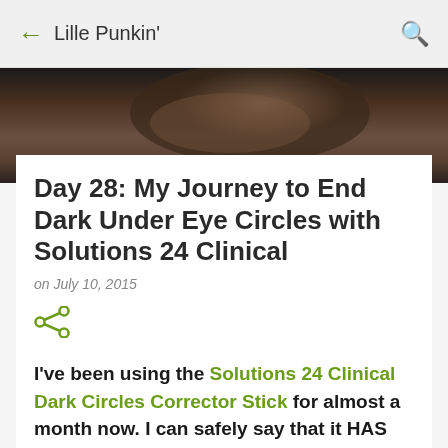← Lille Punkin'
[Figure (photo): Blurred close-up photo of a face, dark background with some brown tones, partially visible, blurred.]
Day 28: My Journey to End Dark Under Eye Circles with Solutions 24 Clinical
on July 10, 2015
I've been using the Solutions 24 Clinical Dark Circles Corrector Stick for almost a month now. I can safely say that it HAS improved the dark circles under my eyes.